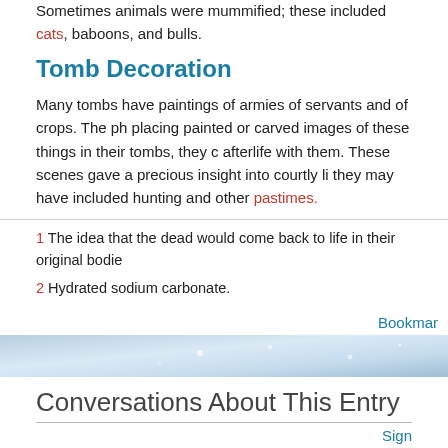Sometimes animals were mummified; these included cats, baboons, and bulls.
Tomb Decoration
Many tombs have paintings of armies of servants and of crops. The pharaohs believed that by placing painted or carved images of these things in their tombs, they could have them in the afterlife with them. These scenes gave a precious insight into courtly life, as they may have included hunting and other pastimes.
1  The idea that the dead would come back to life in their original bodies
2  Hydrated sodium carbonate.
Bookmark
Conversations About This Entry
Sign
There are no Conversations for this Entry
Subscribe | Unsubscribe